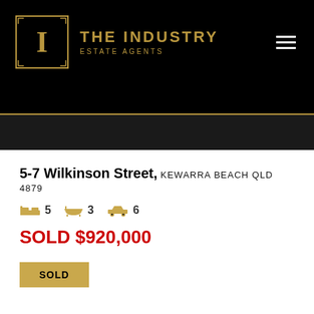THE INDUSTRY ESTATE AGENTS
5-7 Wilkinson Street, KEWARRA BEACH QLD 4879
5 bedrooms, 3 bathrooms, 6 garage
SOLD $920,000
SOLD